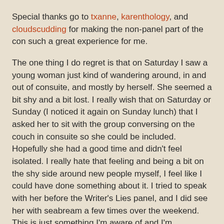Special thanks go to txanne, karenthology, and cloudscudding for making the non-panel part of the con such a great experience for me.
The one thing I do regret is that on Saturday I saw a young woman just kind of wandering around, in and out of consuite, and mostly by herself. She seemed a bit shy and a bit lost. I really wish that on Saturday or Sunday (I noticed it again on Sunday lunch) that I asked her to sit with the group conversing on the couch in consuite so she could be included. Hopefully she had a good time and didn't feel isolated. I really hate that feeling and being a bit on the shy side around new people myself, I feel like I could have done something about it. I tried to speak with her before the Writer's Lies panel, and I did see her with seabream a few times over the weekend. This is just something I'm aware of and I'm disappointed in myself for not really reaching out. Anyway, whoever you are (first name Sally), I hope you had a good time and give Fourth Street another chance next year.